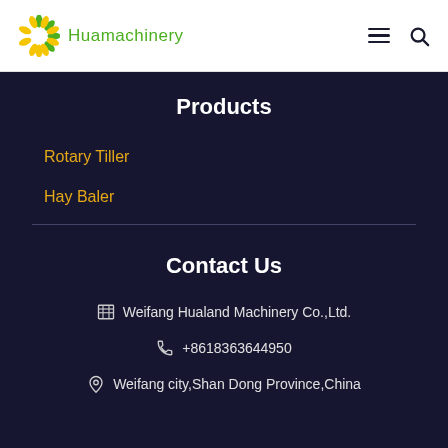Huamachinery
Products
Rotary Tiller
Hay Baler
Contact Us
Weifang Hualand Machinery Co.,Ltd.
+8618363644950
Weifang city,Shan Dong Province,China